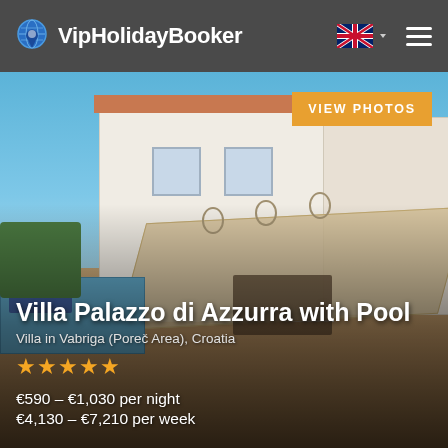VipHolidayBooker
[Figure (photo): Exterior photo of Villa Palazzo di Azzurra with Pool showing white villa building, outdoor terrace with awning/canopy, swimming pool with sun loungers, and blue sky]
VIEW PHOTOS
Villa Palazzo di Azzurra with Pool
Villa in Vabriga (Poreč Area), Croatia
★★★★★
€590 – €1,030 per night
€4,130 – €7,210 per week